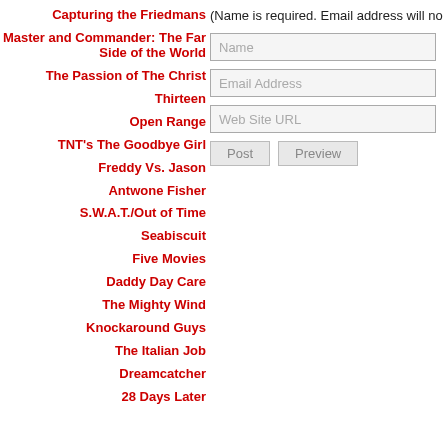Capturing the Friedmans
Master and Commander: The Far Side of the World
The Passion of The Christ
Thirteen
Open Range
TNT's The Goodbye Girl
Freddy Vs. Jason
Antwone Fisher
S.W.A.T./Out of Time
Seabiscuit
Five Movies
Daddy Day Care
The Mighty Wind
Knockaround Guys
The Italian Job
Dreamcatcher
28 Days Later
(Name is required. Email address will no
Name
Email Address
Web Site URL
Post  Preview